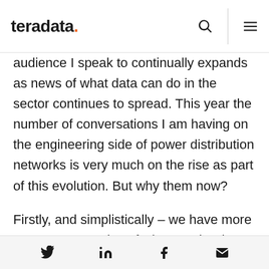teradata.
audience I speak to continually expands as news of what data can do in the sector continues to spread. This year the number of conversations I am having on the engineering side of power distribution networks is very much on the rise as part of this evolution. But why them now?
Firstly, and simplistically – we have more concrete examples of what can be done with data today to deliver on regulation and innovation, whilst taking cost out of those businesses. Previous hype in
Social share icons: Twitter, LinkedIn, Facebook, Email